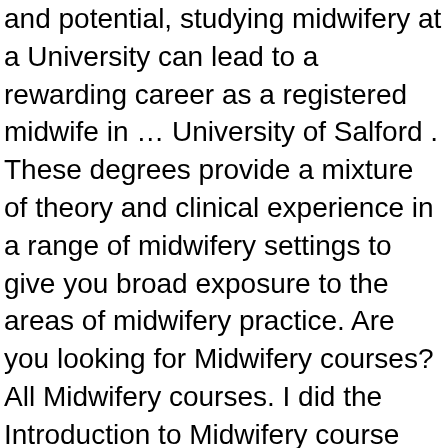and potential, studying midwifery at a University can lead to a rewarding career as a registered midwife in … University of Salford . These degrees provide a mixture of theory and clinical experience in a range of midwifery settings to give you broad exposure to the areas of midwifery practice. Are you looking for Midwifery courses? All Midwifery courses. I did the Introduction to Midwifery course and feel it's given me a really good insight as to what's involved. Nursing and Healthcare courses. GCSE: 5 GCSEs - Science, Maths and English (English Language or English Literature) at minimum of grade B or 5 - Plus 2 others at minimum of grade C or 4 You will need to show evidence of study in the last 5 years. You'll need a degree in Midwifery and enrolling on an Access to Higher Education Diploma (Midwifery) is the best way to get to university and obtain one if you lack formal qualifications. Birthwise Midwifery School was founded in 1994 to provide formal education and a path to certification for direct-entry midwives. Approval was granted … THE World Ranking: 251. midwifery schools near me provides